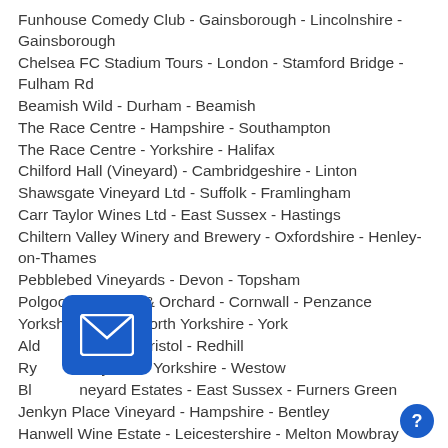Funhouse Comedy Club - Gainsborough - Lincolnshire - Gainsborough
Chelsea FC Stadium Tours - London - Stamford Bridge - Fulham Rd
Beamish Wild - Durham - Beamish
The Race Centre - Hampshire - Southampton
The Race Centre - Yorkshire - Halifax
Chilford Hall (Vineyard) - Cambridgeshire - Linton
Shawsgate Vineyard Ltd - Suffolk - Framlingham
Carr Taylor Wines Ltd - East Sussex - Hastings
Chiltern Valley Winery and Brewery - Oxfordshire - Henley-on-Thames
Pebblebed Vineyards - Devon - Topsham
Polgoon Vineyard & Orchard - Cornwall - Penzance
Yorkshire Heart - North Yorkshire - York
Aldwick Estate - Bristol - Redhill
Ryedale Vineyards - Yorkshire - Westow
Bluebell Vineyard Estates - East Sussex - Furners Green
Jenkyn Place Vineyard - Hampshire - Bentley
Hanwell Wine Estate - Leicestershire - Melton Mowbray
Bardfield Vineyard - Essex - Great Bardfield
Chafor Wine Estate - Buckinghamshire - Gawcott
Cottonworth Vineyard - Hampshire - Cottonworth